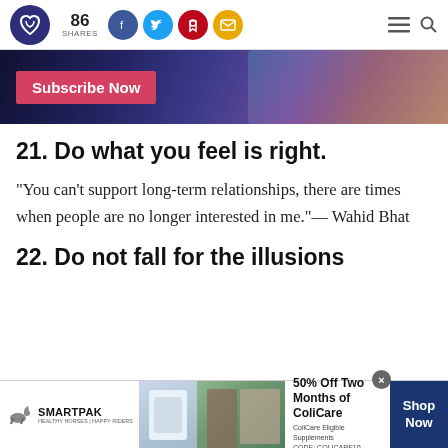86 SHARES
[Figure (screenshot): Subscribe Now banner advertisement with colorful app icons on dark background]
21. Do what you feel is right.
“You can’t support long-term relationships, there are times when people are no longer interested in me.”— Wahid Bhat
22. Do not fall for the illusions
[Figure (infographic): SmartPak advertisement: 50% Off Two Months of ColiCare. ColiCare Eligible Supplements CODE: COLICARE10. Shop Now button.]